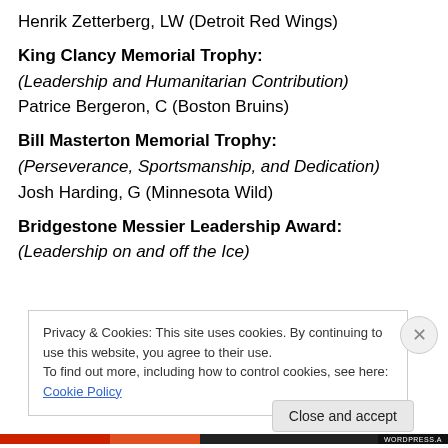Henrik Zetterberg, LW (Detroit Red Wings)
King Clancy Memorial Trophy:
(Leadership and Humanitarian Contribution)
Patrice Bergeron, C (Boston Bruins)
Bill Masterton Memorial Trophy:
(Perseverance, Sportsmanship, and Dedication)
Josh Harding, G (Minnesota Wild)
Bridgestone Messier Leadership Award:
(Leadership on and off the Ice)
Privacy & Cookies: This site uses cookies. By continuing to use this website, you agree to their use.
To find out more, including how to control cookies, see here: Cookie Policy